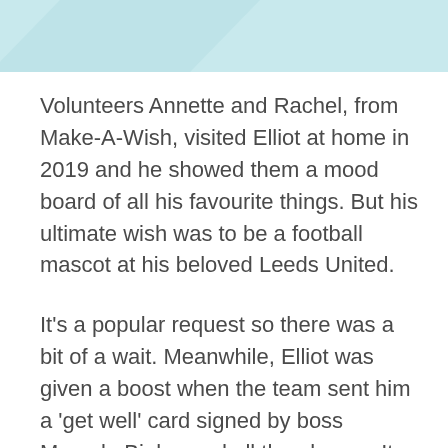[Figure (illustration): Light teal/mint decorative banner at the top of the page with a diagonal geometric shape or watermark element]
Volunteers Annette and Rachel, from Make-A-Wish, visited Elliot at home in 2019 and he showed them a mood board of all his favourite things. But his ultimate wish was to be a football mascot at his beloved Leeds United.
It’s a popular request so there was a bit of a wait. Meanwhile, Elliot was given a boost when the team sent him a ‘get well’ card signed by boss Marcelo Bielsa and all the players. It put a huge smile on his